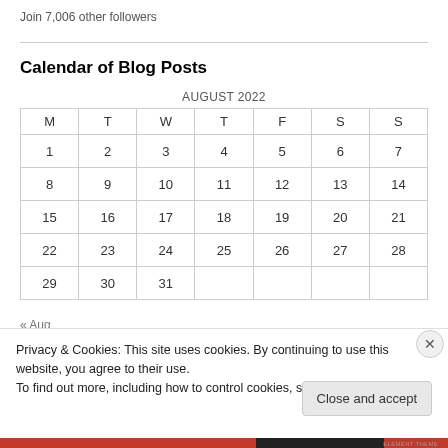Join 7,006 other followers
Calendar of Blog Posts
| M | T | W | T | F | S | S |
| --- | --- | --- | --- | --- | --- | --- |
| 1 | 2 | 3 | 4 | 5 | 6 | 7 |
| 8 | 9 | 10 | 11 | 12 | 13 | 14 |
| 15 | 16 | 17 | 18 | 19 | 20 | 21 |
| 22 | 23 | 24 | 25 | 26 | 27 | 28 |
| 29 | 30 | 31 |  |  |  |  |
« Aug
Privacy & Cookies: This site uses cookies. By continuing to use this website, you agree to their use.
To find out more, including how to control cookies, see here: Cookie Policy
Close and accept